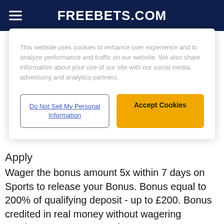FREEBETS.COM
This website uses cookies to enhance user experience and to analyze performance and traffic on our website. We also share information about your use of our site with our social media, advertising and analytics partners.
Do Not Sell My Personal Information | Accept Cookies
Apply
Wager the bonus amount 5x within 7 days on Sports to release your Bonus. Bonus equal to 200% of qualifying deposit - up to £200. Bonus credited in real money without wagering requirements.; T&C's apply; 18+.
EnergyBet Bet £10 Get £10 claim T&Cs Apply 18+The UK only. Available for new players who registered at Energybet after 31.8.2020 and valid only